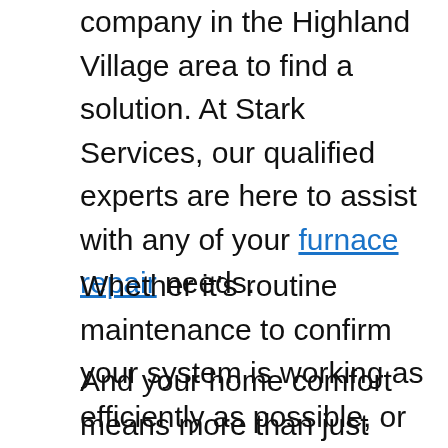company in the Highland Village area to find a solution. At Stark Services, our qualified experts are here to assist with any of your furnace repair needs.
Whether it's routine maintenance to confirm your system is working as efficiently as possible, or a surprise request for emergency repair—you can count on us to get the job done. Don't sit at your home suffering in the agonizing heat or frigid cold. We realize how inconvenient it can be when your home comfort is in chaos, which is why our professionals will work as fast as possible to get your system back up and running.
And your home comfort means more than just